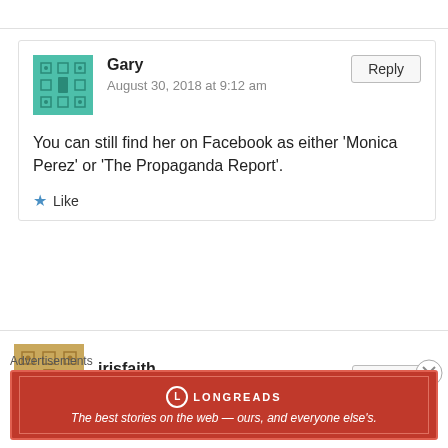[Figure (other): Comment block from user 'Gary' with avatar, timestamp August 30, 2018 at 9:12 am, reply button, comment text, and like button]
You can still find her on Facebook as either 'Monica Perez' or 'The Propaganda Report'.
[Figure (other): Comment block from user 'irisfaith' with avatar and timestamp August 30, 2018 at 2:38 pm, reply button]
Advertisements
[Figure (other): Longreads advertisement banner: The best stories on the web — ours, and everyone else's.]